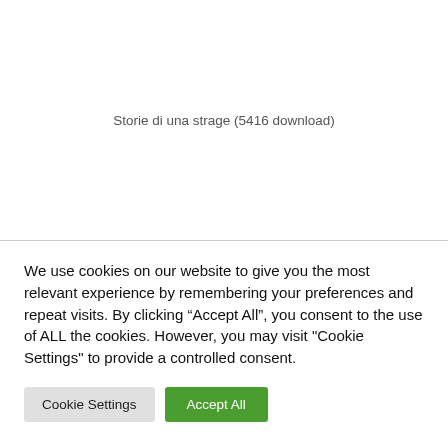Storie di una strage (5416 download)
We use cookies on our website to give you the most relevant experience by remembering your preferences and repeat visits. By clicking “Accept All”, you consent to the use of ALL the cookies. However, you may visit "Cookie Settings" to provide a controlled consent.
Cookie Settings
Accept All